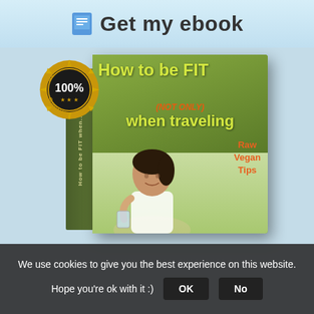Get my ebook
[Figure (illustration): 3D book cover for 'How to be FIT (NOT ONLY) when traveling' with Raw Vegan Tips subtitle, featuring a woman drinking water. Includes a gold 100% Money Back Guarantee badge. Book has a dark green cover with yellow-green title text.]
We use cookies to give you the best experience on this website.
Hope you're ok with it :) OK No